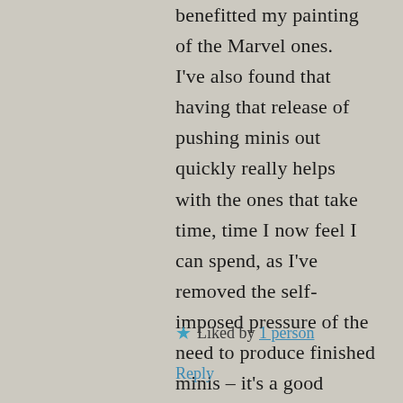benefitted my painting of the Marvel ones.
I've also found that having that release of pushing minis out quickly really helps with the ones that take time, time I now feel I can spend, as I've removed the self-imposed pressure of the need to produce finished minis – it's a good balance for me.
★ Liked by 1 person
Reply